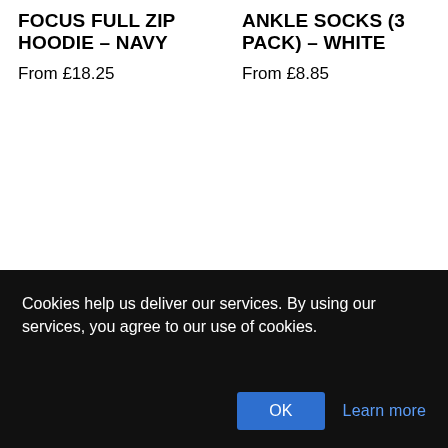FOCUS FULL ZIP HOODIE – NAVY
From £18.25
ANKLE SOCKS (3 PACK) – WHITE
From £8.85
Cookies help us deliver our services. By using our services, you agree to our use of cookies.
OK
Learn more